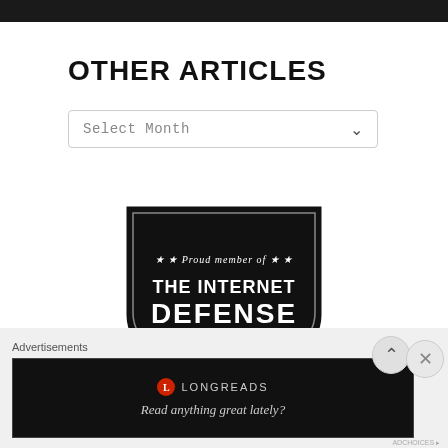[Figure (screenshot): Dark top navigation bar of a website]
OTHER ARTICLES
[Figure (screenshot): Select Month dropdown box with arrow]
[Figure (logo): Black shield badge with text: Proud member of THE INTERNET DEFENSE LEAGUE with stars decoration]
Advertisements
[Figure (screenshot): Longreads advertisement banner: Read anything great lately?]